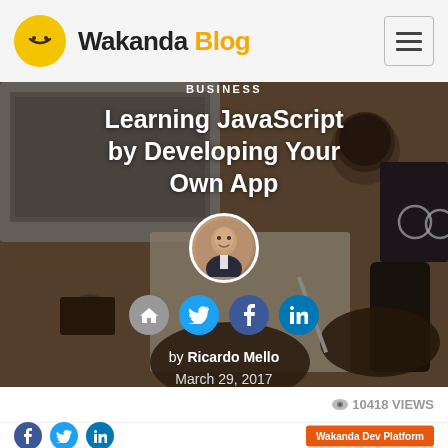Wakanda Blog
[Figure (screenshot): Hero image of person writing on paper at a desk with laptop, coffee cup, phone, keys, glasses, and notebook, with dark overlay]
BUSINESS
Learning JavaScript by Developing Your Own App
[Figure (photo): Circular profile photo of Ricardo Mello]
[Figure (infographic): Social sharing icons: home, Twitter, Facebook, LinkedIn]
by Ricardo Mello
March 29, 2017
10418 VIEWS
Wakanda Dev Platform